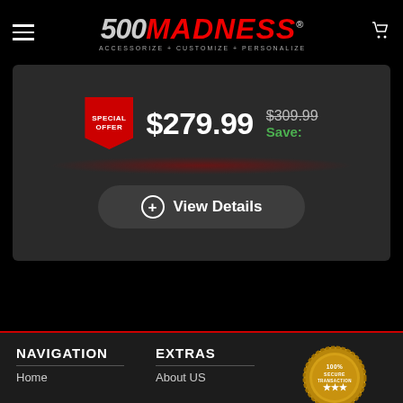[Figure (logo): 500 Madness logo with tagline ACCESSORIZE + CUSTOMIZE + PERSONALIZE]
$279.99
$309.99 Save:
SPECIAL OFFER
+ View Details
NAVIGATION
EXTRAS
Home
About US
[Figure (illustration): 100% Secure Transaction gold seal badge]